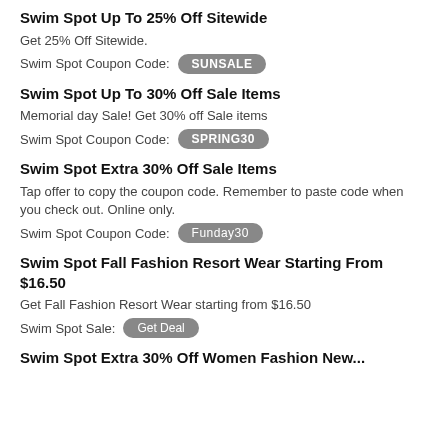Swim Spot Up To 25% Off Sitewide
Get 25% Off Sitewide.
Swim Spot Coupon Code: SUNSALE
Swim Spot Up To 30% Off Sale Items
Memorial day Sale! Get 30% off Sale items
Swim Spot Coupon Code: SPRING30
Swim Spot Extra 30% Off Sale Items
Tap offer to copy the coupon code. Remember to paste code when you check out. Online only.
Swim Spot Coupon Code: Funday30
Swim Spot Fall Fashion Resort Wear Starting From $16.50
Get Fall Fashion Resort Wear starting from $16.50
Swim Spot Sale: Get Deal
Swim Spot Extra 30% Off Women Fashion New...